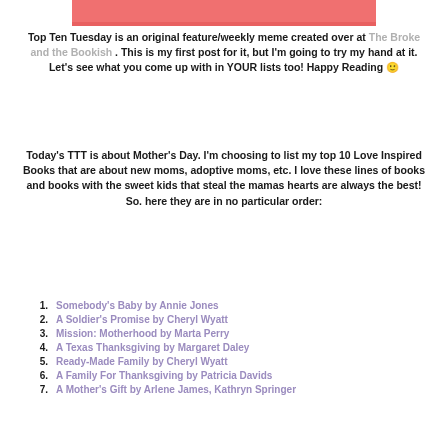[Figure (illustration): Pink/salmon colored banner strip at top of page]
Top Ten Tuesday is an original feature/weekly meme created over at The Broke and the Bookish . This is my first post for it, but I'm going to try my hand at it. Let's see what you come up with in YOUR lists too! Happy Reading 🙂
Today's TTT is about Mother's Day. I'm choosing to list my top 10 Love Inspired Books that are about new moms, adoptive moms, etc. I love these lines of books and books with the sweet kids that steal the mamas hearts are always the best! So. here they are in no particular order:
1. Somebody's Baby by Annie Jones
2. A Soldier's Promise by Cheryl Wyatt
3. Mission: Motherhood by Marta Perry
4. A Texas Thanksgiving by Margaret Daley
5. Ready-Made Family by Cheryl Wyatt
6. A Family For Thanksgiving by Patricia Davids
7. A Mother's Gift by Arlene James, Kathryn Springer